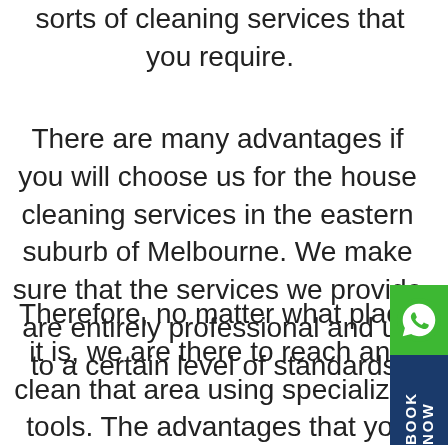sorts of cleaning services that you require.
There are many advantages if you will choose us for the house cleaning services in the eastern suburb of Melbourne. We make sure that the services we provide are entirely professional and up to a certain level of standards.
Therefore, no matter what place it is, we are there to reach and clean that area using specialized tools. The advantages that you will get after choosing our house cleaning services in the eastern suburb of Melbourne are as follows: